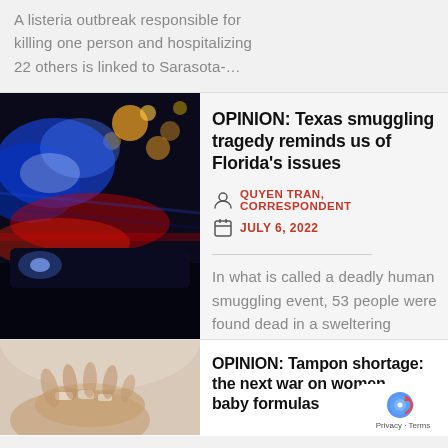A listeria outbreak responsible for killing one person and hospitalizing 22 others is linked to Sarasota-…
[Figure (photo): Police car with flashing blue and red lights at night]
OPINION: Texas smuggling tragedy reminds us of Florida's issues
QUYEN TRAN, CORRESPONDENT
JULY 6, 2022
In what is called a deadly human smuggling event, 53 people were found dead in a sweltering tractor…
[Figure (photo): Hands holding small items, possibly tampons or baby-related items]
OPINION: Tampon shortage: the next war on women, after baby formulas